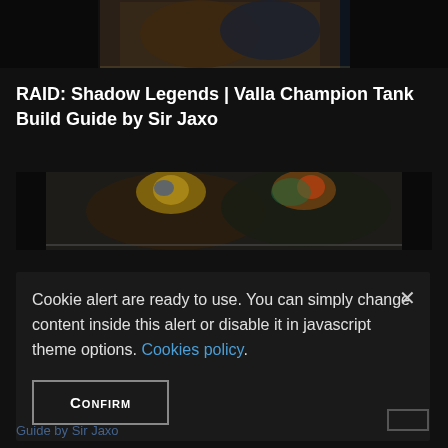[Figure (screenshot): Top partial banner image from a game website showing fantasy/RPG characters in dark setting]
RAID: Shadow Legends | Valla Champion Tank Build Guide by Sir Jaxo
[Figure (screenshot): Secondary banner image showing two game characters with ornate headgear and armor against dark background]
Cookie alert are ready to use. You can simply change content inside this alert or disable it in javascript theme options. Cookies policy.
CONFIRM
Guide by Sir Jaxo